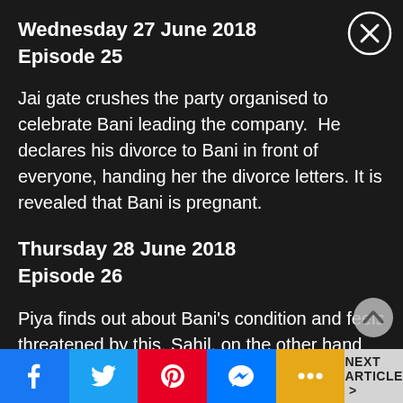Wednesday 27 June 2018
Episode 25
Jai gate crushes the party organised to celebrate Bani leading the company.  He declares his divorce to Bani in front of everyone, handing her the divorce letters. It is revealed that Bani is pregnant.
Thursday 28 June 2018
Episode 26
Piya finds out about Bani's condition and feels threatened by this. Sahil, on the other hand…